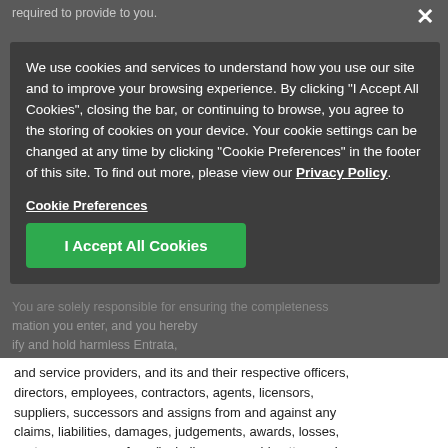required to provide to you.
We use cookies and services to understand how you use our site and to improve your browsing experience. By clicking "I Accept All Cookies", closing the bar, or continuing to browse, you agree to the storing of cookies on your device. Your cookie settings can be changed at any time by clicking "Cookie Preferences" in the footer of this site. To find out more, please view our Privacy Policy
Cookie Preferences
I Accept All Cookies
and service providers, and its and their respective officers, directors, employees, contractors, agents, licensors, suppliers, successors and assigns from and against any claims, liabilities, damages, judgements, awards, losses, costs, expenses or fees (including reasonable attorneys’ fees) arising out of or relating to the information you enter. You understand that electronically signed documents have the same legal effect as hard copies with ink signatures